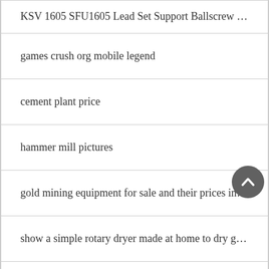KSV 1605 SFU1605 Lead Set Support Ballscrew …
games crush org mobile legend
cement plant price
hammer mill pictures
gold mining equipment for sale and their prices in…
show a simple rotary dryer made at home to dry g…